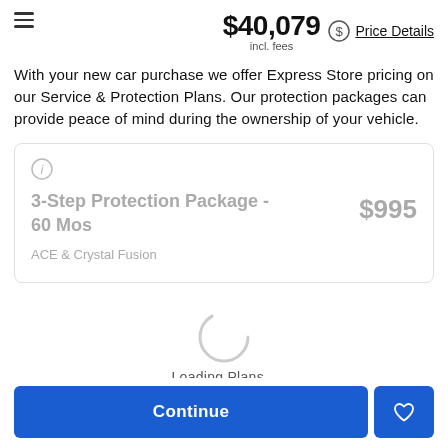$40,079 incl. fees  Price Details
With your new car purchase we offer Express Store pricing on our Service & Protection Plans. Our protection packages can provide peace of mind during the ownership of your vehicle.
3-Step Protection Package - 60 Mos  $995
ACE & Crystal Fusion
Loading Plans...
Continue